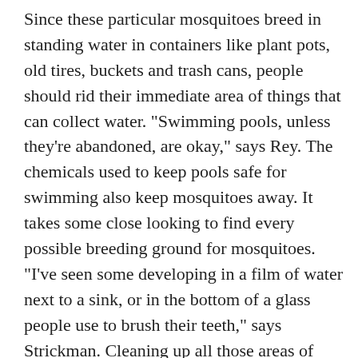Since these particular mosquitoes breed in standing water in containers like plant pots, old tires, buckets and trash cans, people should rid their immediate area of things that can collect water. "Swimming pools, unless they're abandoned, are okay," says Rey. The chemicals used to keep pools safe for swimming also keep mosquitoes away. It takes some close looking to find every possible breeding ground for mosquitoes. "I've seen some developing in a film of water next to a sink, or in the bottom of a glass people use to brush their teeth," says Strickman. Cleaning up all those areas of standing water can greatly reduce the number of mosquitoes. "It's up to individuals to make their own backyards safe," says Rey. And their front yards and as much of their surrounding environment as possible. The more people do that kind of basic clean-up, the fewer mosquitoes there will be. "It may not be perfect, but you'll lower the number of mosquitoes tremendously," says